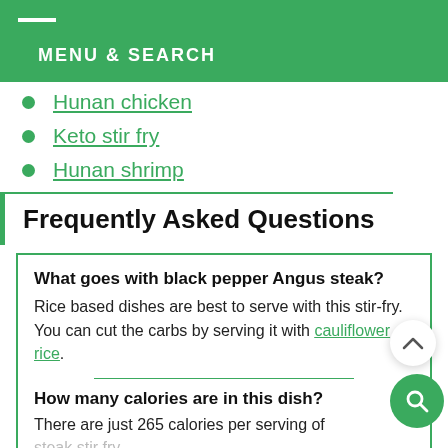MENU & SEARCH
Hunan chicken
Keto stir fry
Hunan shrimp
Frequently Asked Questions
What goes with black pepper Angus steak? Rice based dishes are best to serve with this stir-fry. You can cut the carbs by serving it with cauliflower rice.
How many calories are in this dish? There are just 265 calories per serving of steak stir fry.